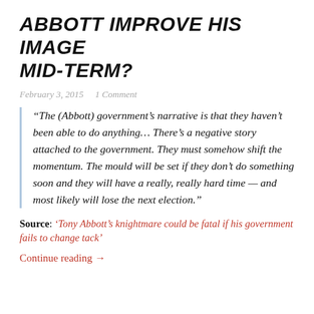ABBOTT IMPROVE HIS IMAGE MID-TERM?
February 3, 2015   1 Comment
“The (Abbott) government’s narrative is that they haven’t been able to do anything... There’s a negative story attached to the government. They must somehow shift the momentum. The mould will be set if they don’t do something soon and they will have a really, really hard time — and most likely will lose the next election.”
Source: ‘Tony Abbott’s knightmare could be fatal if his government fails to change tack’
Continue reading →